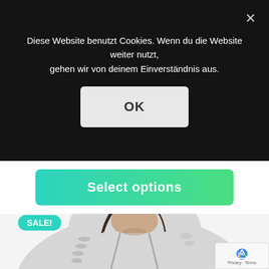Diese Website benutzt Cookies. Wenn du die Website weiter nutzt, gehen wir von deinem Einverständnis aus.
OK
Select options
SALE!
[Figure (photo): Man wearing a grey distressed hoodie with ripped holes along the sleeve and shoulder, photographed from the chest up, with dark hair pulled back.]
Privacy · Terms